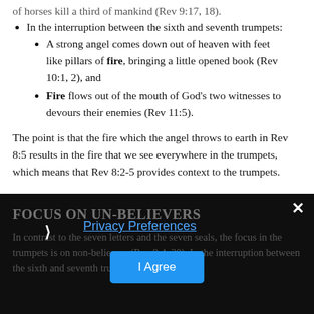of horses kill a third of mankind (Rev 9:17, 18).
In the interruption between the sixth and seventh trumpets:
A strong angel comes down out of heaven with feet like pillars of fire, bringing a little opened book (Rev 10:1, 2), and
Fire flows out of the mouth of God’s two witnesses to devours their enemies (Rev 11:5).
The point is that the fire which the angel throws to earth in Rev 8:5 results in the fire that we see everywhere in the trumpets, which means that Rev 8:2-5 provides context to the trumpets.
FOCUS ON UN-BELIEVERS
In contrast to the seven letters and the seven seals, the focus in the trumpets is on non-believers (Rev 9:4, 20). In the interruption between the sixth and seventh trumpets, God’s